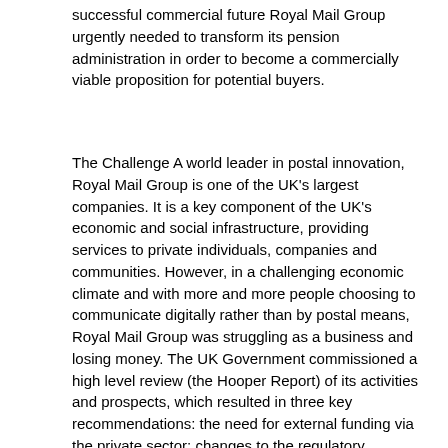successful commercial future Royal Mail Group urgently needed to transform its pension administration in order to become a commercially viable proposition for potential buyers.
The Challenge A world leader in postal innovation, Royal Mail Group is one of the UK's largest companies. It is a key component of the UK's economic and social infrastructure, providing services to private individuals, companies and communities. However, in a challenging economic climate and with more and more people choosing to communicate digitally rather than by postal means, Royal Mail Group was struggling as a business and losing money. The UK Government commissioned a high level review (the Hooper Report) of its activities and prospects, which resulted in three key recommendations: the need for external funding via the private sector; changes to the regulatory framework to allow Royal Mail to set its own prices; and the removal of the Group's huge pension deficit. Access to private sector funding, however, would only be viable if the pension deficit could be removed since no buyer would want to take on those liabilities. The UK Government agreed to take over all the historic assets and liabilities from Royal Mail Group's pension scheme, but this required the creation of brand